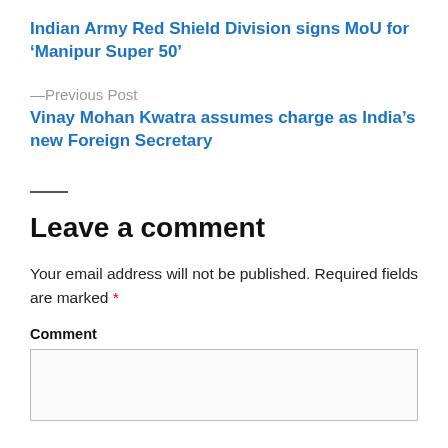Indian Army Red Shield Division signs MoU for ‘Manipur Super 50’
—Previous Post
Vinay Mohan Kwatra assumes charge as India’s new Foreign Secretary
Leave a comment
Your email address will not be published. Required fields are marked *
Comment